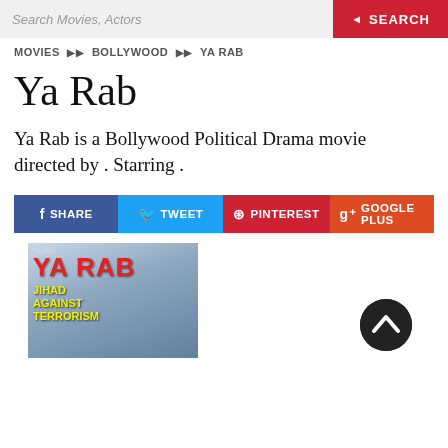Search Movies, Actors   SEARCH
MOVIES ▶▶ BOLLYWOOD ▶▶ YA RAB
Ya Rab
Ya Rab is a Bollywood Political Drama movie directed by . Starring .
[Figure (infographic): Social share buttons: f SHARE, TWEET, PINTEREST, G+ GOOGLE PLUS]
[Figure (photo): Movie poster for Ya Rab showing 'YA RAB' in red text and 'JIHAD AGAINST TERRORISM' subtitle with actors in background]
[Figure (other): Back to top button - circular dark button with upward chevron arrow]